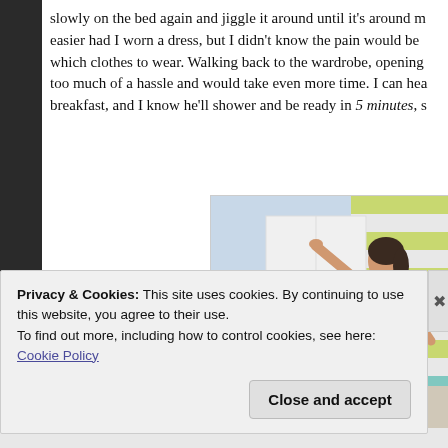slowly on the bed again and jiggle it around until it's around m easier had I worn a dress, but I didn't know the pain would be which clothes to wear. Walking back to the wardrobe, opening too much of a hassle and would take even more time. I can hea breakfast, and I know he'll shower and be ready in 5 minutes, s
[Figure (photo): A woman in a light blue top and jeans leaning forward with one hand on a white wardrobe/shelving unit, other hand on her lower back, appearing to be in pain. Background shows curtains with green and blue stripes.]
Privacy & Cookies: This site uses cookies. By continuing to use this website, you agree to their use.
To find out more, including how to control cookies, see here:
Cookie Policy
Close and accept